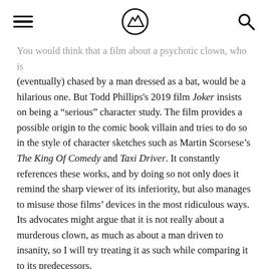[hamburger menu] [logo] [search icon]
You would think that a film about a psychotic clown, who is (eventually) chased by a man dressed as a bat, would be a hilarious one. But Todd Phillips's 2019 film Joker insists on being a “serious” character study. The film provides a possible origin to the comic book villain and tries to do so in the style of character sketches such as Martin Scorsese’s The King Of Comedy and Taxi Driver. It constantly references these works, and by doing so not only does it remind the sharp viewer of its inferiority, but also manages to misuse those films’ devices in the most ridiculous ways. Its advocates might argue that it is not really about a murderous clown, as much as about a man driven to insanity, so I will try treating it as such while comparing it to its predecessors.
The first scene shows our lead, Arthur Fleck (Joaquin Phoenix), as he puts his clown makeup on, before forcing a smile on himself and bathetically crying a single tear. Next, we see him juggle an ad on a sidewalk before a group of teens steals it. He follows them to an alley where they